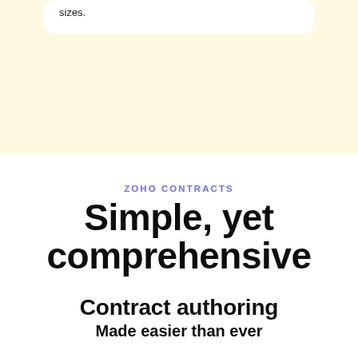sizes.
ZOHO CONTRACTS
Simple, yet comprehensive
Contract authoring
Made easier than ever